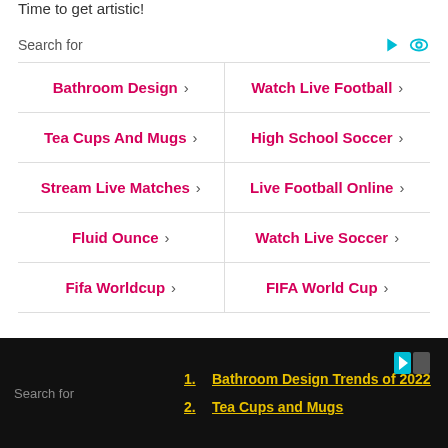Time to get artistic!
Search for
Bathroom Design >
Watch Live Football >
Tea Cups And Mugs >
High School Soccer >
Stream Live Matches >
Live Football Online >
Fluid Ounce >
Watch Live Soccer >
Fifa Worldcup >
FIFA World Cup >
How To Make A Teacup Clock – It's tea time! This step-by-step post will teach you how to make a beautiful clock that will display all of your favorite teacups in style!
Search for
1. Bathroom Design Trends of 2022
2. Tea Cups and Mugs